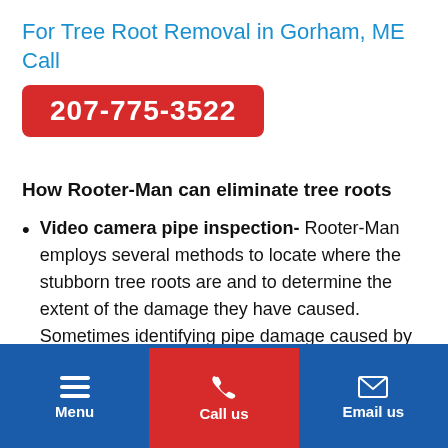For Tree Root Removal in Gorham, ME Call
207-775-3522
How Rooter-Man can eliminate tree roots
Video camera pipe inspection- Rooter-Man employs several methods to locate where the stubborn tree roots are and to determine the extent of the damage they have caused. Sometimes identifying pipe damage caused by tree roots can only be done with a video camera pipe inspection. After we find where the problem is and complete the necessary work needed to remove the tree roots, we
Menu | Call us | Email us